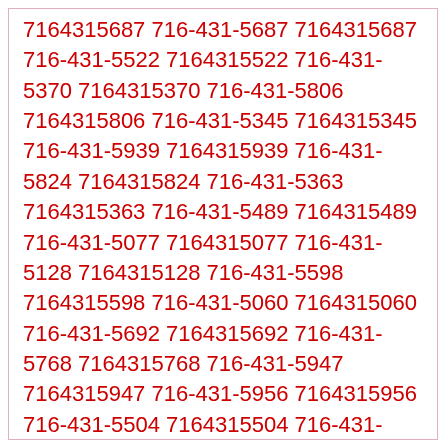7164315687 716-431-5687 7164315687 716-431-5522 7164315522 716-431-5370 7164315370 716-431-5806 7164315806 716-431-5345 7164315345 716-431-5939 7164315939 716-431-5824 7164315824 716-431-5363 7164315363 716-431-5489 7164315489 716-431-5077 7164315077 716-431-5128 7164315128 716-431-5598 7164315598 716-431-5060 7164315060 716-431-5692 7164315692 716-431-5768 7164315768 716-431-5947 7164315947 716-431-5956 7164315956 716-431-5504 7164315504 716-431-5118 7164315118 716-431-5344 7164315344 716-431-5291 7164315291 716-431-5300 7164315300 716-431-5065 7164315065 716-431-5544 7164315544 716-431-5150 7164315150 716-431-5744 7164315744 716-431-5002 7164315002 716-431-5292 7164315292 716-431-5378 7164315378 716-431-5619 7164315619 716-431-5316 7164315316 716-431-5359 7164315359 716-431-5215 7164315215 716-